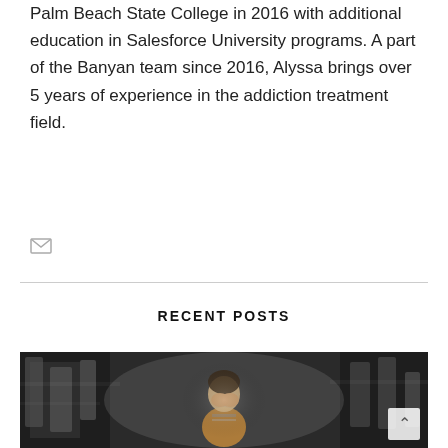Palm Beach State College in 2016 with additional education in Salesforce University programs. A part of the Banyan team since 2016, Alyssa brings over 5 years of experience in the addiction treatment field.
[Figure (other): Email envelope icon]
RECENT POSTS
[Figure (photo): A woman standing in a crowd of blurred moving people, covering her face with her hands, appearing distressed. Motion blur effect on surrounding crowd.]